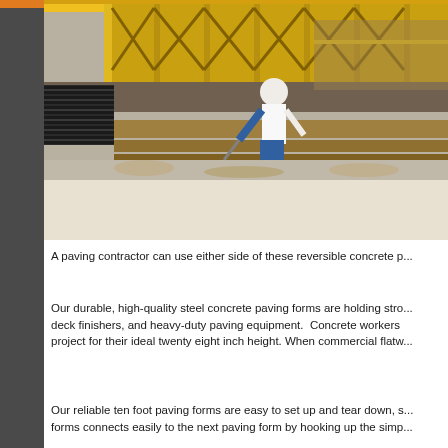[Figure (photo): Construction worker in white shirt and jeans using a tool beside large yellow paving machine with black rubber tracks on a concrete surface. Heavy industrial paving equipment visible in background.]
A paving contractor can use either side of these reversible concrete p...
Our durable, high-quality steel concrete paving forms are holding stro... deck finishers, and heavy-duty paving equipment. Concrete workers ... project for their ideal twenty eight inch height. When commercial flatw...
Our reliable ten foot paving forms are easy to set up and tear down, s... forms connects easily to the next paving form by hooking up the simp...